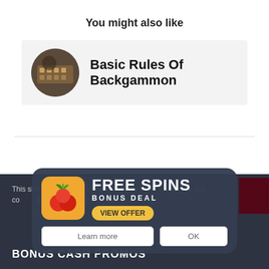You might also like
[Figure (photo): Card with circular thumbnail of backgammon board and text 'Basic Rules Of Backgammon']
This site uses cookies. By continuing to use the site, you are agreeing to our use of cookies.
[Figure (infographic): Popup overlay: FREE SPINS BONUS DEAL with cherry icon, VIEW OFFER button, Learn more and OK buttons]
BONUS CASH PROMOS